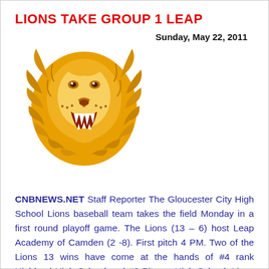LIONS TAKE GROUP 1 LEAP
Sunday, May 22, 2011
[Figure (illustration): Golden lion mascot head logo with open roaring mouth, gold and white coloring]
CNBNEWS.NET Staff Reporter The Gloucester City High School Lions baseball team takes the field Monday in a first round playoff game. The Lions (13 – 6) host Leap Academy of Camden (2 -8). First pitch 4 PM. Two of the Lions 13 wins have come at the hands of #4 rank Highland High School and #8 Pitman High School. Lions skipper Kevin Fahy has juggled his inexperience